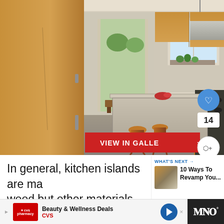[Figure (photo): Interior kitchen photo showing wood cabinets, kitchen island with bar stools, pendant lights, stainless steel appliances, and a view into an adjoining room]
In general, kitchen islands are made of wood but other materials can also be used.
WHAT'S NEXT → 10 Ways To Revamp You...
Beauty & Wellness Deals CVS